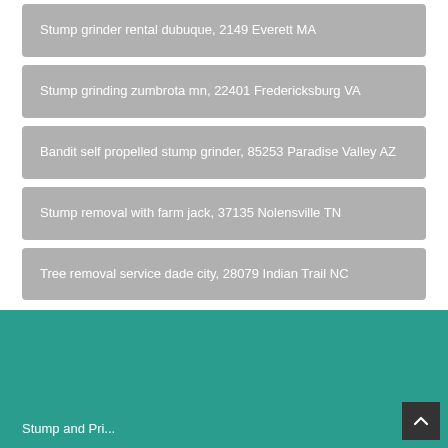Stump grinder rental dubuque, 2149 Everett MA
Stump grinding zumbrota mn, 22401 Fredericksburg VA
Bandit self propelled stump grinder, 85253 Paradise Valley AZ
Stump removal with farm jack, 37135 Nolensville TN
Tree removal service dade city, 28079 Indian Trail NC
Stump and Pri...